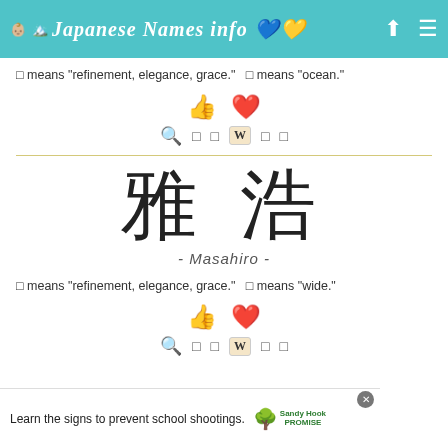Japanese Names info
□ means "refinement, elegance, grace."   □ means "ocean."
[Figure (other): Thumbs up and heart icons for liking/favoriting]
[Figure (other): Search, share, Wiktionary and other action icons]
[Figure (other): Large kanji characters 雅 浩 for the name Masahiro]
- Masahiro -
□ means "refinement, elegance, grace."   □ means "wide."
[Figure (other): Thumbs up and heart icons for liking/favoriting]
[Figure (other): Search, share, Wiktionary and other action icons]
[Figure (other): Advertisement banner: Learn the signs to prevent school shootings. Sandy Hook Promise.]